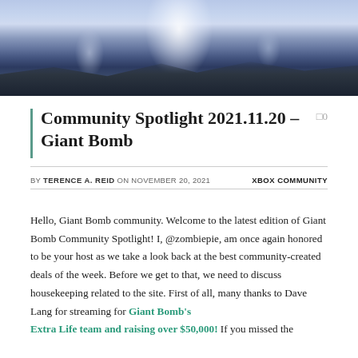[Figure (photo): Mountain landscape photo with snow-capped peaks and cloudy sky, used as a hero/banner image at the top of the article.]
Community Spotlight 2021.11.20 – Giant Bomb
BY TERENCE A. REID ON NOVEMBER 20, 2021   XBOX COMMUNITY
Hello, Giant Bomb community. Welcome to the latest edition of Giant Bomb Community Spotlight! I, @zombiepie, am once again honored to be your host as we take a look back at the best community-created deals of the week. Before we get to that, we need to discuss housekeeping related to the site. First of all, many thanks to Dave Lang for streaming for Giant Bomb's Extra Life team and raising over $50,000! If you missed the